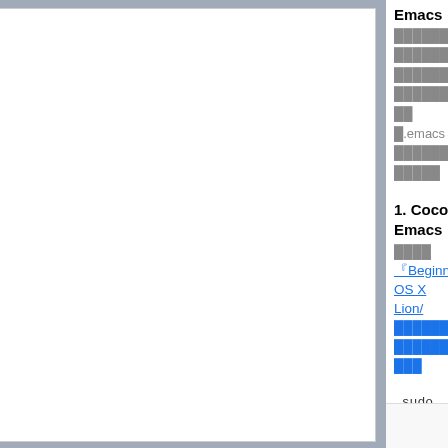Emacs ███████ ███████ ███████ ███████ ██ █.emacs ███████ ██████
1. Cocoa Emacs
████ 『Beginning OS X Lion/ ███████ ███████ ███
sudo port install emacs-app +patches configure.cc gcc-4.2